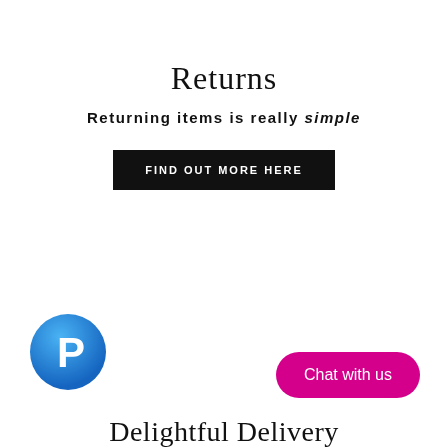Returns
Returning items is really simple
FIND OUT MORE HERE
[Figure (logo): PayPal circular logo with blue gradient background and white P symbol]
Chat with us
Delightful Delivery